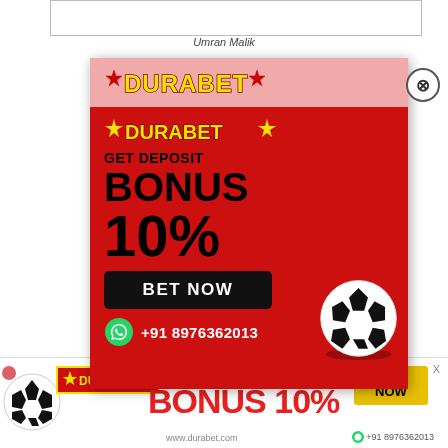[Figure (photo): Partial view of a cricket-related photo at the top of the page]
Umran Malik
[Figure (infographic): Durabet betting advertisement popup: yellow logo on pink strip, red background with 'GET DEPOSIT BONUS 10%' text, BET NOW button, WhatsApp number +91 8976362013, soccer ball graphic]
W... lik during a press conference...
[Figure (infographic): Durabet bottom banner ad: logo, soccer ball, GET DEPOSIT BONUS 10%, www.durabet.com, BET NOW button, WhatsApp +91 8976362013]